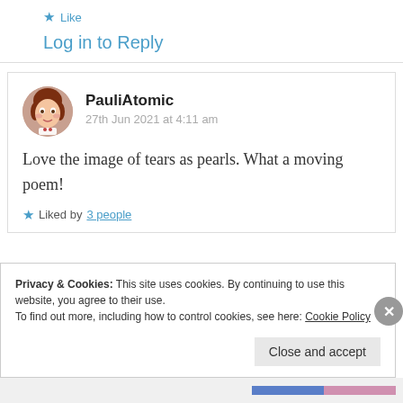★ Like
Log in to Reply
PauliAtomic
27th Jun 2021 at 4:11 am
Love the image of tears as pearls. What a moving poem!
★ Liked by 3 people
Privacy & Cookies: This site uses cookies. By continuing to use this website, you agree to their use.
To find out more, including how to control cookies, see here: Cookie Policy
Close and accept